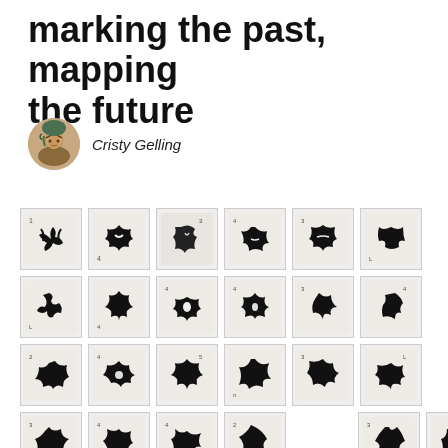marking the past, mapping the future
Cristy Gelling
[Figure (illustration): A 4-row grid of 23 small square tiles, each containing a black-ink abstract mark or symbol on a light/grey background, resembling archaeological or anthropological artifact impressions.]